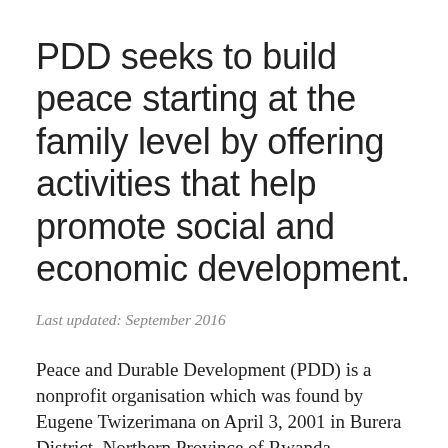PDD seeks to build peace starting at the family level by offering activities that help promote social and economic development.
Last updated: September 2016
Peace and Durable Development (PDD) is a nonprofit organisation which was found by Eugene Twizerimana on April 3, 2001 in Burera District, Northern Province of Rwanda. Considering the